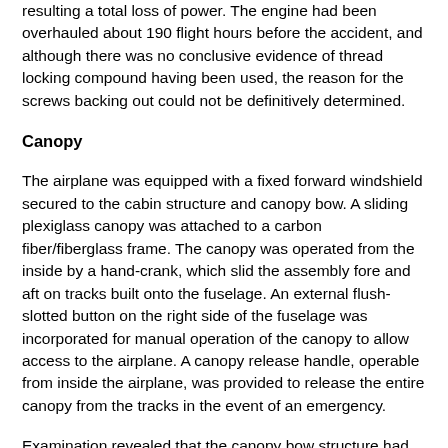resulting a total loss of power. The engine had been overhauled about 190 flight hours before the accident, and although there was no conclusive evidence of thread locking compound having been used, the reason for the screws backing out could not be definitively determined.
Canopy
The airplane was equipped with a fixed forward windshield secured to the cabin structure and canopy bow. A sliding plexiglass canopy was attached to a carbon fiber/fiberglass frame. The canopy was operated from the inside by a hand-crank, which slid the assembly fore and aft on tracks built onto the fuselage. An external flush-slotted button on the right side of the fuselage was incorporated for manual operation of the canopy to allow access to the airplane. A canopy release handle, operable from inside the airplane, was provided to release the entire canopy from the tracks in the event of an emergency.
Examination revealed that the canopy bow structure had collapsed during the nose-over event, which, along with the failure of the vertical stabilizer, resulted in the